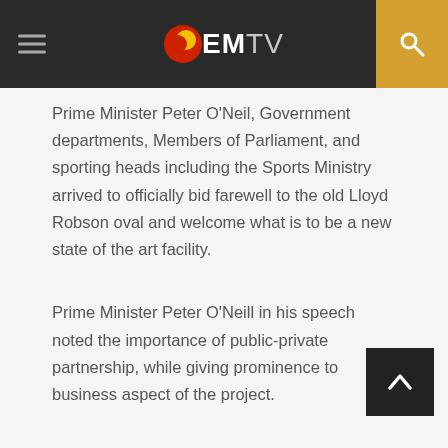EMTV
Prime Minister Peter O'Neil, Government departments, Members of Parliament, and sporting heads including the Sports Ministry arrived to officially bid farewell to the old Lloyd Robson oval and welcome what is to be a new state of the art facility.
Prime Minister Peter O'Neill in his speech noted the importance of public-private partnership, while giving prominence to business aspect of the project.
Mr. O'Neill officially knocked down the wall to launch